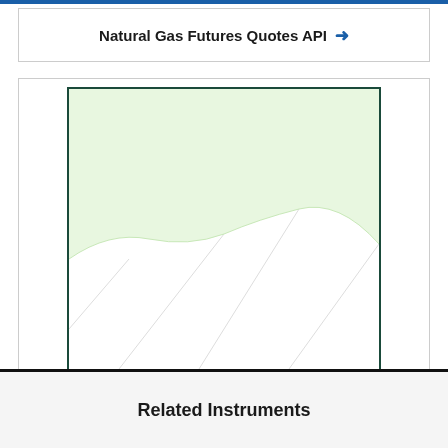Natural Gas Futures Quotes API →
[Figure (area-chart): Area chart showing natural gas futures data with a light green filled area in the upper portion curving downward, and white/light area in the lower portion. The chart has a dark teal border.]
Related Instruments